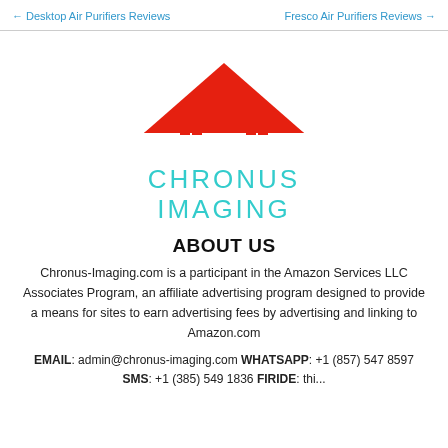← Desktop Air Purifiers Reviews    Fresco Air Purifiers Reviews →
[Figure (logo): Red house/roof icon with two windows, logo for Chronus Imaging]
CHRONUS IMAGING
ABOUT US
Chronus-Imaging.com is a participant in the Amazon Services LLC Associates Program, an affiliate advertising program designed to provide a means for sites to earn advertising fees by advertising and linking to Amazon.com
EMAIL: admin@chronus-imaging.com WHATSAPP: +1 (857) 547 8597 SMS: +1 (385) 549 1836 FIRIDE: thi...